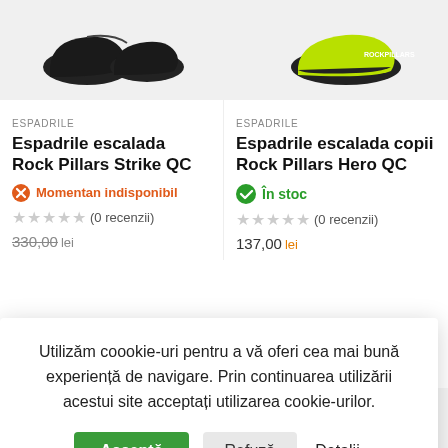[Figure (photo): Product image of Rock Pillars Strike QC climbing shoes (black)]
[Figure (photo): Product image of Rock Pillars Hero QC climbing shoes (lime green/black)]
ESPADRILE
Espadrile escalada Rock Pillars Strike QC
Momentan indisponibil
(0 recenzii)
330,00 lei
ESPADRILE
Espadrile escalada copii Rock Pillars Hero QC
În stoc
(0 recenzii)
137,00 lei
Utilizăm coookie-uri pentru a vă oferi cea mai bună experiență de navigare. Prin continuarea utilizării acestui site acceptați utilizarea cookie-urilor.
Acceptă
Refuză
Detalii